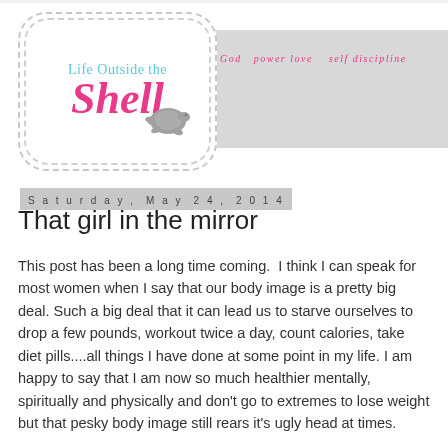[Figure (logo): Blog header logo: 'Life Outside the Shell' in cyan and pink script with a grey turtle silhouette, in a dashed rounded badge. Right side shows grey banner with pink italic text 'God power love self discipline']
Saturday, May 24, 2014
That girl in the mirror
This post has been a long time coming.  I think I can speak for most women when I say that our body image is a pretty big deal. Such a big deal that it can lead us to starve ourselves to drop a few pounds, workout twice a day, count calories, take diet pills....all things I have done at some point in my life. I am happy to say that I am now so much healthier mentally, spiritually and physically and don't go to extremes to lose weight but that pesky body image still rears it's ugly head at times.